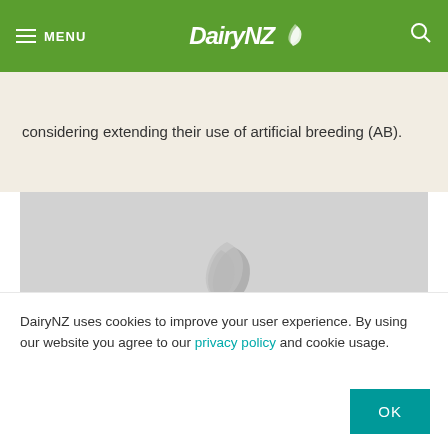MENU | DairyNZ
considering extending their use of artificial breeding (AB).
[Figure (screenshot): Grey video loading placeholder with DairyNZ logo watermark and LOADING text]
DairyNZ uses cookies to improve your user experience. By using our website you agree to our privacy policy and cookie usage.